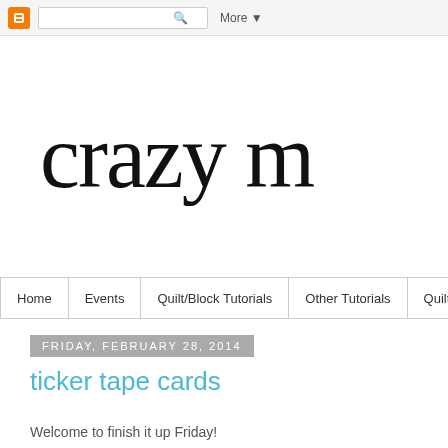Blogger navigation bar with search box and More button
crazy m
Home | Events | Quilt/Block Tutorials | Other Tutorials | Quilt M
Friday, February 28, 2014
ticker tape cards
Welcome to finish it up Friday!